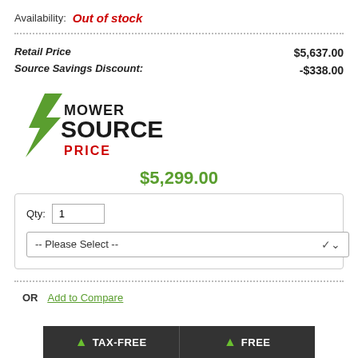Availability: Out of stock
Retail Price $5,637.00
Source Savings Discount: -$338.00
[Figure (logo): Mower Source logo with green lightning bolt and black/green text, with red PRICE text below]
$5,299.00
Qty: 1
-- Please Select --
OR   Add to Compare
TAX-FREE   FREE